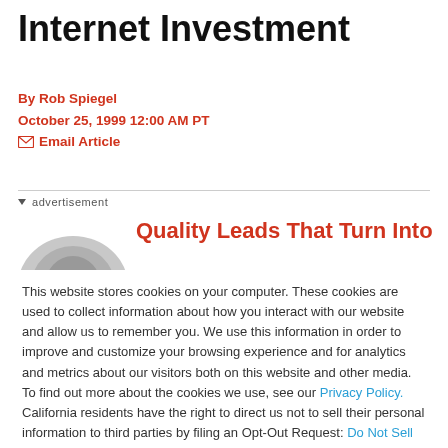Internet Investment
By Rob Spiegel
October 25, 1999 12:00 AM PT
✉ Email Article
advertisement
Quality Leads That Turn Into
This website stores cookies on your computer. These cookies are used to collect information about how you interact with our website and allow us to remember you. We use this information in order to improve and customize your browsing experience and for analytics and metrics about our visitors both on this website and other media. To find out more about the cookies we use, see our Privacy Policy. California residents have the right to direct us not to sell their personal information to third parties by filing an Opt-Out Request: Do Not Sell My Personal Info.
Accept